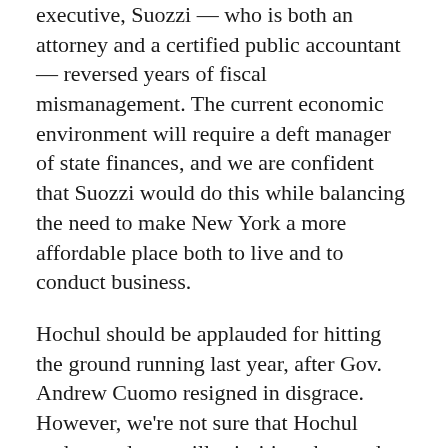executive, Suozzi — who is both an attorney and a certified public accountant — reversed years of fiscal mismanagement. The current economic environment will require a deft manager of state finances, and we are confident that Suozzi would do this while balancing the need to make New York a more affordable place both to live and to conduct business.
Hochul should be applauded for hitting the ground running last year, after Gov. Andrew Cuomo resigned in disgrace. However, we're not sure that Hochul understands, or will prioritize, the needs of Long Islanders. The home region of a governor can certainly stand to benefit from having a native son or daughter in Albany.
Case in point: the sweetheart deal Hochul brokered for a new stadium for the Buffalo Bills, in her home territory. The behind-closed-doors deal provides $1